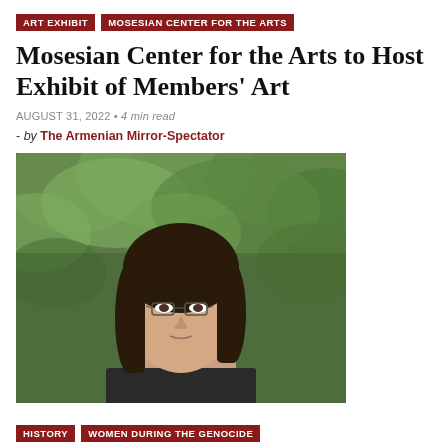ART EXHIBIT | MOSESIAN CENTER FOR THE ARTS
Mosesian Center for the Arts to Host Exhibit of Members' Art
AUGUST 31, 2022 • 4 min read
- by The Armenian Mirror-Spectator
[Figure (photo): Portrait photo of a woman with long dark hair and glasses, against a green leafy background]
HISTORY | WOMEN DURING THE GENOCIDE
''And My Mother Gave Me Away':